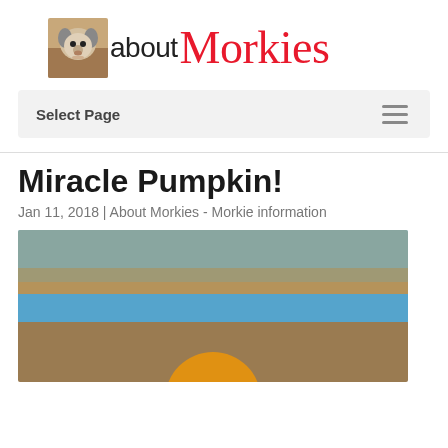[Figure (logo): About Morkies website logo: small photo of a Morkie puppy next to the text 'about Morkies' where 'Morkies' is in red cursive script]
Select Page
Miracle Pumpkin!
Jan 11, 2018 | About Morkies - Morkie information
[Figure (photo): Blurred outdoor photo showing a sunset or sunrise scene with sky gradients of blue and tan/brown tones, and an orange circular sun shape at the bottom center]